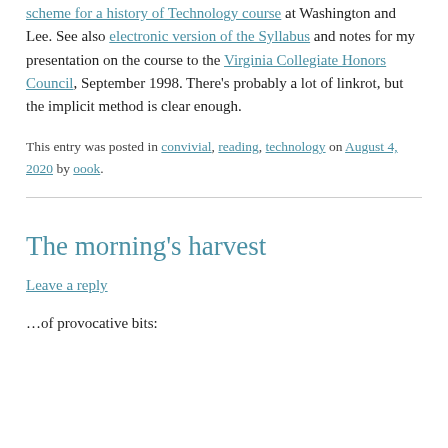scheme for a history of Technology course at Washington and Lee. See also electronic version of the Syllabus and notes for my presentation on the course to the Virginia Collegiate Honors Council, September 1998. There's probably a lot of linkrot, but the implicit method is clear enough.
This entry was posted in convivial, reading, technology on August 4, 2020 by oook.
The morning's harvest
Leave a reply
…of provocative bits: